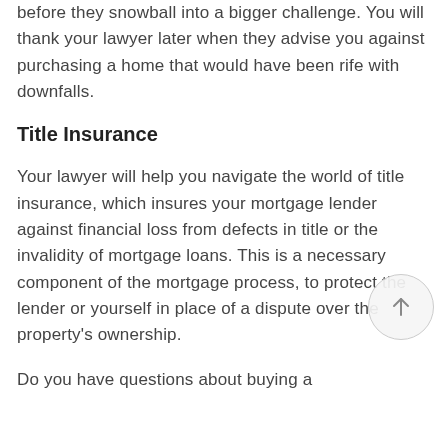before they snowball into a bigger challenge. You will thank your lawyer later when they advise you against purchasing a home that would have been rife with downfalls.
Title Insurance
Your lawyer will help you navigate the world of title insurance, which insures your mortgage lender against financial loss from defects in title or the invalidity of mortgage loans. This is a necessary component of the mortgage process, to protect the lender or yourself in place of a dispute over the property's ownership.
Do you have questions about buying a